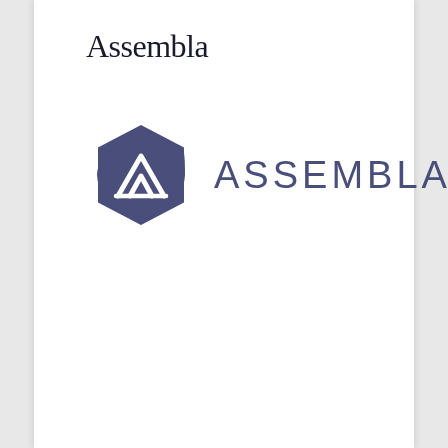Assembla
[Figure (logo): Assembla logo: dark navy hexagon icon with a white mountain/triangle symbol inside, followed by the text 'ASSEMBLA' in spaced capitals in a muted navy/slate color.]